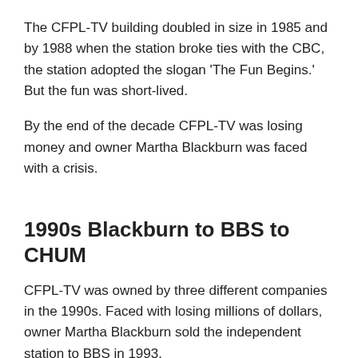The CFPL-TV building doubled in size in 1985 and by 1988 when the station broke ties with the CBC, the station adopted the slogan 'The Fun Begins.' But the fun was short-lived.
By the end of the decade CFPL-TV was losing money and owner Martha Blackburn was faced with a crisis.
1990s Blackburn to BBS to CHUM
CFPL-TV was owned by three different companies in the 1990s. Faced with losing millions of dollars, owner Martha Blackburn sold the independent station to BBS in 1993.